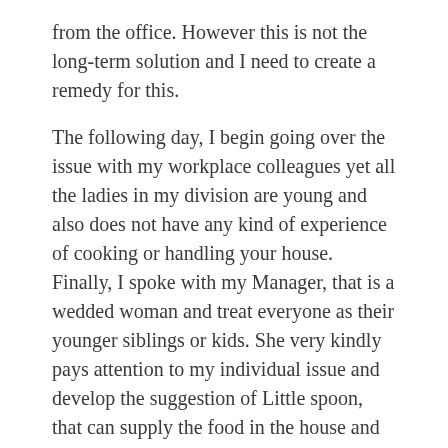from the office. However this is not the long-term solution and I need to create a remedy for this.
The following day, I begin going over the issue with my workplace colleagues yet all the ladies in my division are young and also does not have any kind of experience of cooking or handling your house. Finally, I spoke with my Manager, that is a wedded woman and treat everyone as their younger siblings or kids. She very kindly pays attention to my individual issue and develop the suggestion of Little spoon, that can supply the food in the house and all the receipts are of the very same taste since homemade food.
Check more about Little Spoon here
Continue reading →